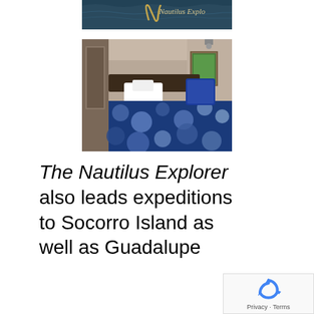[Figure (photo): Top portion of a Nautilus Explorer branded image showing water/ocean with script logo text 'Nautilus Explo...' in gold on dark background]
[Figure (photo): Interior cabin photo showing a bed with blue polka-dot patterned bedding/comforter, white pillow, and a framed green picture on the wall in background]
The Nautilus Explorer also leads expeditions to Socorro Island as well as Guadalupe
[Figure (other): Google reCAPTCHA badge in bottom-right corner showing the reCAPTCHA logo and 'Privacy · Terms' text]